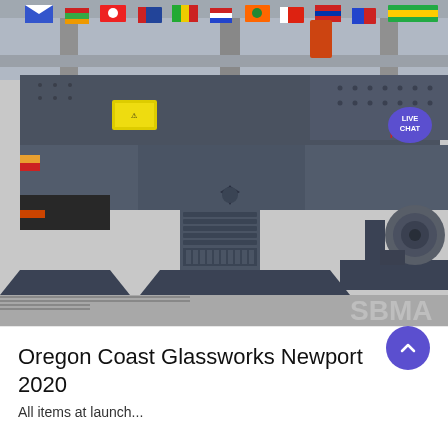[Figure (photo): Industrial heavy machinery (vibrating screen/feeder) displayed indoors with international flags hanging from the ceiling in the background. The machine is dark grey/charcoal colored with a robust steel frame and mechanical components. A 'LIVE CHAT' speech bubble badge appears in the upper right corner of the image.]
Oregon Coast Glassworks Newport 2020
All items at launch...